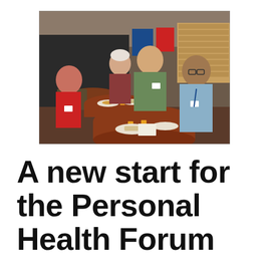[Figure (photo): Four people seated around round tables in a community hall setting, sharing food and drinks. A woman in red on the left, two people in the middle (woman with white hair, man in green jumper), and a man with glasses in a blue shirt on the right. Round wooden tables with plates of food and glasses of orange juice. Community hall with chairs and displays visible in the background.]
A new start for the Personal Health Forum